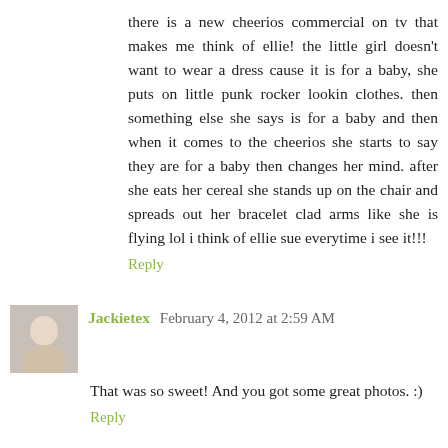there is a new cheerios commercial on tv that makes me think of ellie! the little girl doesn't want to wear a dress cause it is for a baby, she puts on little punk rocker lookin clothes. then something else she says is for a baby and then when it comes to the cheerios she starts to say they are for a baby then changes her mind. after she eats her cereal she stands up on the chair and spreads out her bracelet clad arms like she is flying lol i think of ellie sue everytime i see it!!!
Reply
Jackietex  February 4, 2012 at 2:59 AM
That was so sweet! And you got some great photos. :)
Reply
Mama J  February 4, 2012 at 5:32 AM
Sorryyyyy....Board meetings this week so that means early in and late home, but I did squeeze in my time with the